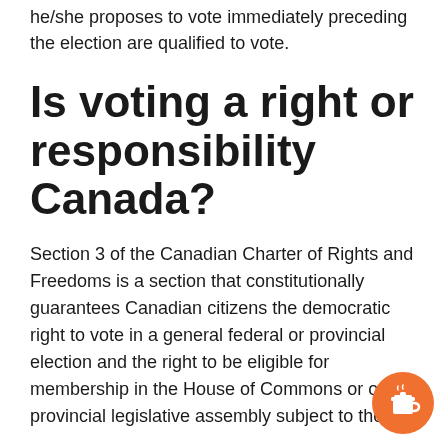months in the city or municipality wherein he/she proposes to vote immediately preceding the election are qualified to vote.
Is voting a right or responsibility Canada?
Section 3 of the Canadian Charter of Rights and Freedoms is a section that constitutionally guarantees Canadian citizens the democratic right to vote in a general federal or provincial election and the right to be eligible for membership in the House of Commons or of a provincial legislative assembly subject to the …
[Figure (illustration): Orange circular button with a coffee cup icon (Buy Me a Coffee widget)]